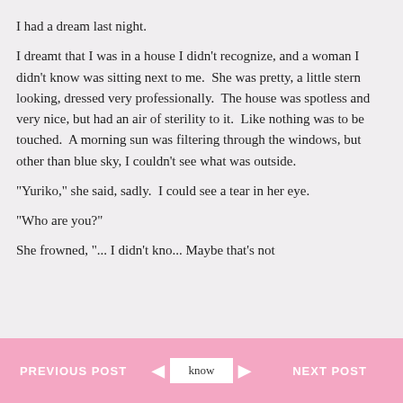I had a dream last night.
I dreamt that I was in a house I didn't recognize, and a woman I didn't know was sitting next to me.  She was pretty, a little stern looking, dressed very professionally.  The house was spotless and very nice, but had an air of sterility to it.  Like nothing was to be touched.  A morning sun was filtering through the windows, but other than blue sky, I couldn't see what was outside.
“Yuriko,” she said, sadly.  I could see a tear in her eye.
“Who are you?”
She frowned. “... I didn't kno... Maybe that's not
PREVIOUS POST   ◄   know   ►   NEXT POST